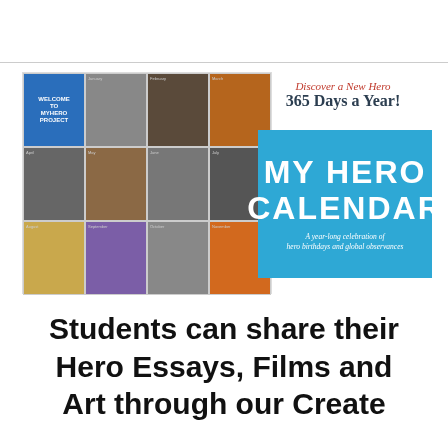[Figure (illustration): MY HERO CALENDAR promotional image showing a grid of hero portraits (calendar thumbnails) on the left side, and on the right side text reading 'Discover a New Hero 365 Days a Year!' above a blue box with 'MY HERO CALENDAR' and subtitle 'A year-long celebration of hero birthdays and global observances']
Students can share their Hero Essays, Films and Art through our Create